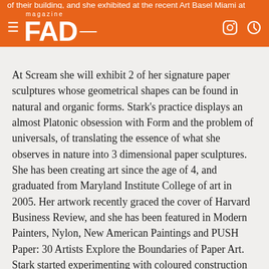FAD magazine
of their building, and she exhibited at the recent Art Basel Miami at PULSE Scope Art Fair with LMA Projects.
At Scream she will exhibit 2 of her signature paper sculptures whose geometrical shapes can be found in natural and organic forms. Stark's practice displays an almost Platonic obsession with Form and the problem of universals, of translating the essence of what she observes in nature into 3 dimensional paper sculptures. She has been creating art since the age of 4, and graduated from Maryland Institute College of art in 2005. Her artwork recently graced the cover of Harvard Business Review, and she has been featured in Modern Painters, Nylon, New American Paintings and PUSH Paper: 30 Artists Explore the Boundaries of Paper Art. Stark started experimenting with coloured construction paper and a Xacto knife whilst studying in the south of France, where the transformation of an ordinary material into something multi-layered and magical began. In her work geometry, nature and mathematics collide, and the complex process can take several weeks